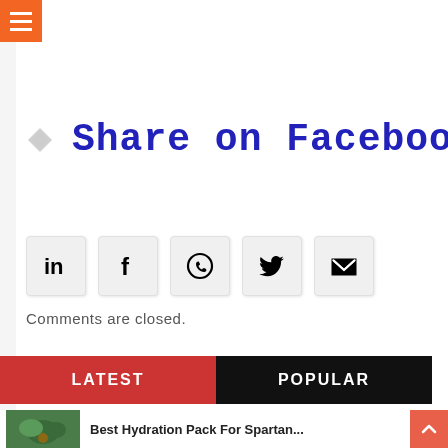[Figure (screenshot): Orange hamburger menu icon in top-left corner]
[Figure (illustration): Share on Facebook button with diamond icon and large blue text]
[Figure (infographic): Row of social share icon buttons: LinkedIn, Facebook, WhatsApp, Twitter, Email]
Comments are closed.
LATEST
POPULAR
Best Hydration Pack For Spartan...